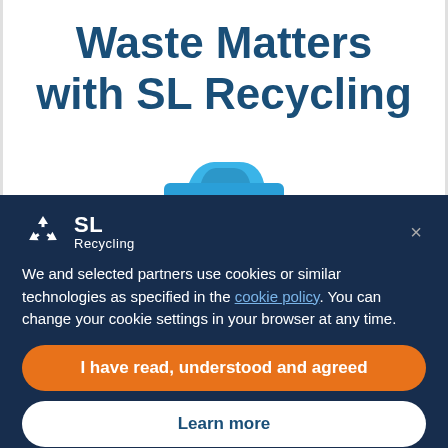Waste Matters with SL Recycling
[Figure (illustration): Blue car illustration partially visible at the bottom of the white section]
[Figure (logo): SL Recycling logo with recycling arrows icon and text SL Recycling]
We and selected partners use cookies or similar technologies as specified in the cookie policy. You can change your cookie settings in your browser at any time.
I have read, understood and agreed
Learn more